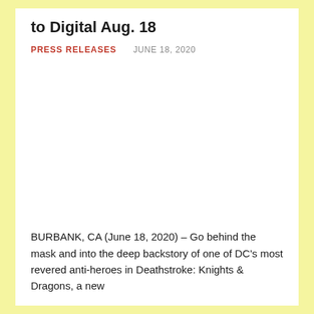to Digital Aug. 18
PRESS RELEASES   JUNE 18, 2020
[Figure (photo): Large image placeholder area (white/blank)]
BURBANK, CA (June 18, 2020) – Go behind the mask and into the deep backstory of one of DC's most revered anti-heroes in Deathstroke: Knights & Dragons, a new